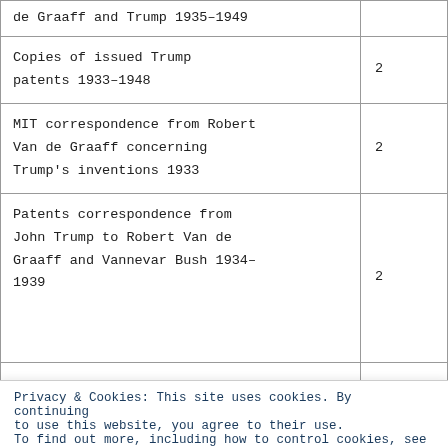| Description |  |
| --- | --- |
| de Graaff and Trump 1935–1949 |  |
| Copies of issued Trump patents 1933–1948 | 2 |
| MIT correspondence from Robert Van de Graaff concerning Trump's inventions 1933 | 2 |
| Patents correspondence from John Trump to Robert Van de Graaff and Vannevar Bush 1934–1939 | 2 |
|  | 2 |
Privacy & Cookies: This site uses cookies. By continuing to use this website, you agree to their use. To find out more, including how to control cookies, see here: Unsere Cookie-Richtlinie